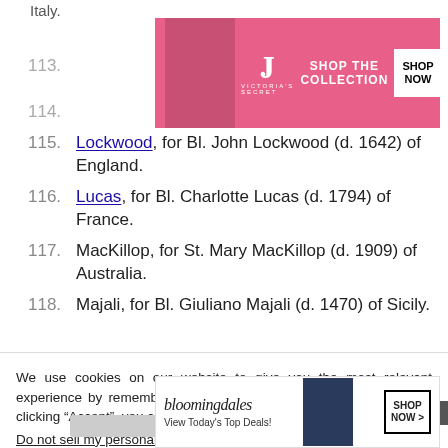Italy.
[Figure (screenshot): Victoria's Secret advertisement banner: pink background with VS logo, 'SHOP THE COLLECTION' text, and 'SHOP NOW' button]
115. Lockwood, for Bl. John Lockwood (d. 1642) of England.
116. Lucas, for Bl. Charlotte Lucas (d. 1794) of France.
117. MacKillop, for St. Mary MacKillop (d. 1909) of Australia.
118. Majali, for Bl. Giuliano Majali (d. 1470) of Sicily.
We use cookies on our website to give you the most relevant experience by remembering your preferences and repeat visits. By clicking “Accept”, you consent to the use of ALL the cookies.
Do not sell my personal information.
[Figure (screenshot): Bloomingdale's advertisement banner: logo, 'View Today's Top Deals!' text, model with hat, and 'SHOP NOW >' button]